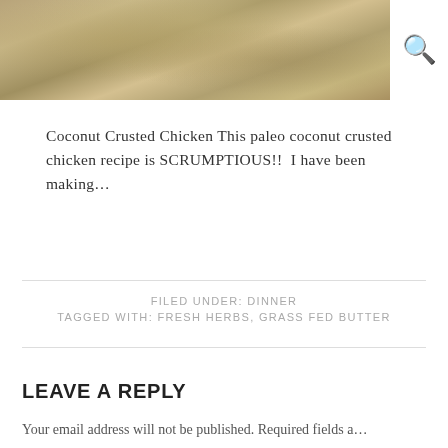[Figure (photo): Close-up photo of coconut crusted chicken dish, golden-brown textured surface]
Coconut Crusted Chicken This paleo coconut crusted chicken recipe is SCRUMPTIOUS!!  I have been making…
FILED UNDER: DINNER
TAGGED WITH: FRESH HERBS, GRASS FED BUTTER
LEAVE A REPLY
Your email address will not be published. Required fields a…